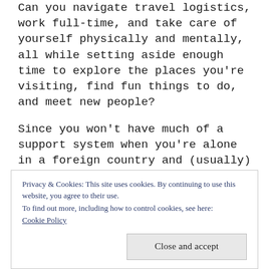Can you navigate travel logistics, work full-time, and take care of yourself physically and mentally, all while setting aside enough time to explore the places you're visiting, find fun things to do, and meet new people?
Since you won't have much of a support system when you're alone in a foreign country and (usually) don't speak the language, finding the right balance is critical. Your routine has to be sustainable in the long run, and if you aren't careful, things can go downhill in a hurry.
Privacy & Cookies: This site uses cookies. By continuing to use this website, you agree to their use.
To find out more, including how to control cookies, see here:
Cookie Policy
Close and accept